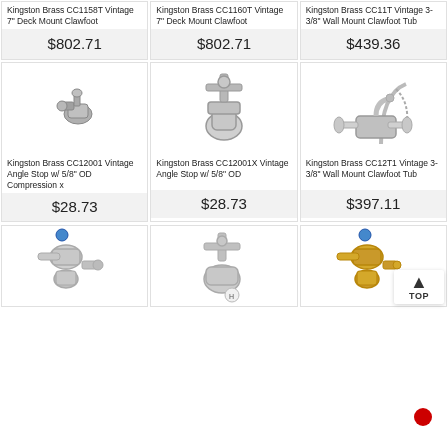Kingston Brass CC1158T Vintage 7" Deck Mount Clawfoot
$802.71
Kingston Brass CC1160T Vintage 7" Deck Mount Clawfoot
$802.71
Kingston Brass CC11T Vintage 3-3/8" Wall Mount Clawfoot Tub
$439.36
[Figure (photo): Small chrome angle stop valve fitting]
Kingston Brass CC12001 Vintage Angle Stop w/ 5/8" OD Compression x
$28.73
[Figure (photo): Chrome cross-handle angle stop valve]
Kingston Brass CC12001X Vintage Angle Stop w/ 5/8" OD
$28.73
[Figure (photo): Chrome wall mount clawfoot tub faucet with hand shower]
Kingston Brass CC12T1 Vintage 3-3/8" Wall Mount Clawfoot Tub
$397.11
[Figure (photo): Chrome angle stop valve with blue indicator]
[Figure (photo): Chrome cross-handle angle stop valve with H label]
[Figure (photo): Gold/brass angle stop valve with blue indicator]